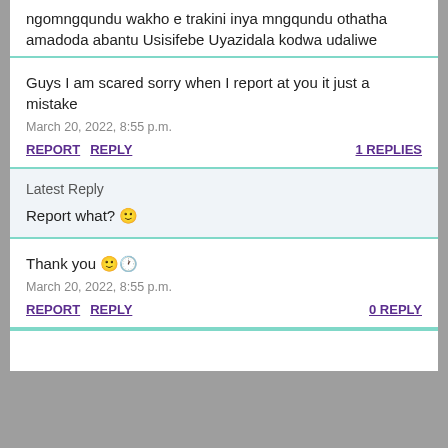ngomngqundu wakho e trakini inya mngqundu othatha amadoda abantu Usisifebe Uyazidala kodwa udaliwe
Guys I am scared sorry when I report at you it just a mistake
March 20, 2022, 8:55 p.m.
REPORT REPLY   1 REPLIES
Latest Reply
Report what? 🙂
Thank you 🙂🕐
March 20, 2022, 8:55 p.m.
REPORT REPLY   0 REPLY